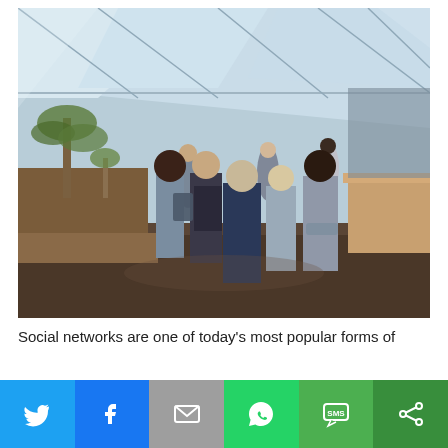[Figure (photo): Business professionals networking in a modern glass-walled venue. Multiple people in professional attire standing and conversing, some holding tablets or documents. Indoor plants and wooden bar visible in background.]
Social networks are one of today's most popular forms of
[Figure (infographic): Social media share bar with six buttons: Twitter (blue bird icon), Facebook (blue f icon), Email (grey envelope icon), WhatsApp (green phone icon), SMS (green SMS icon), and a green share icon.]